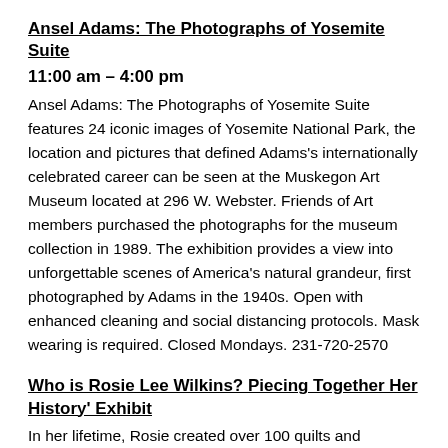Ansel Adams: The Photographs of Yosemite Suite
11:00 am – 4:00 pm
Ansel Adams: The Photographs of Yosemite Suite features 24 iconic images of Yosemite National Park, the location and pictures that defined Adams's internationally celebrated career can be seen at the Muskegon Art Museum located at 296 W. Webster. Friends of Art members purchased the photographs for the museum collection in 1989. The exhibition provides a view into unforgettable scenes of America's natural grandeur, first photographed by Adams in the 1940s. Open with enhanced cleaning and social distancing protocols. Mask wearing is required. Closed Mondays. 231-720-2570
Who is Rosie Lee Wilkins? Piecing Together Her History' Exhibit
In her lifetime, Rosie created over 100 quilts and unfortunately, her story was left unfinished. Along with